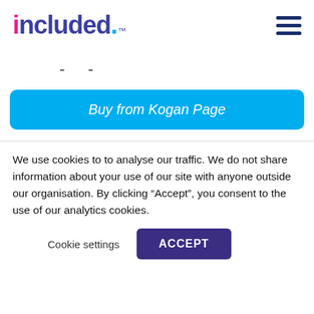[Figure (logo): included. logo with trademark symbol, i in magenta/pink, ncluded in dark purple/blue, period in cyan]
[Figure (other): Hamburger menu icon with three horizontal dark blue lines]
- -
Buy from Kogan Page
We use cookies to to analyse our traffic. We do not share information about your use of our site with anyone outside our organisation. By clicking “Accept”, you consent to the use of our analytics cookies.
Cookie settings
ACCEPT